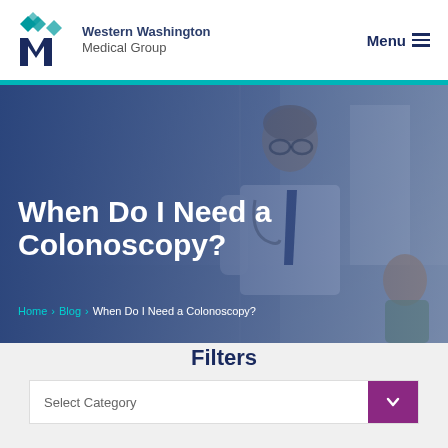Western Washington Medical Group | Menu
[Figure (photo): Doctor in blue shirt and dark tie with stethoscope walking in a hospital corridor, speaking with an elderly patient. Blue-tinted overlay on the image.]
When Do I Need a Colonoscopy?
Home > Blog > When Do I Need a Colonoscopy?
Filters
Select Category